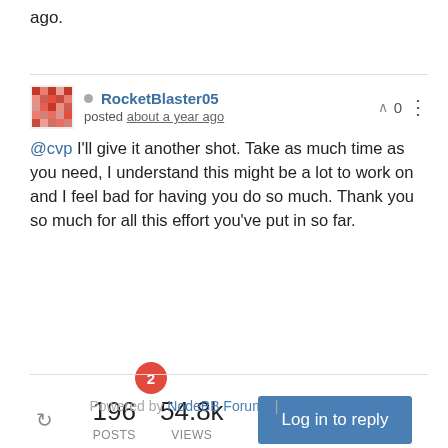ago.
RocketBlaster05 posted about a year ago
@cvp I'll give it another shot. Take as much time as you need, I understand this might be a lot to work on and I feel bad for having you do so much. Thank you so much for all this effort you've put in so far.
196 POSTS  54.8k VIEWS
Log in to reply
Powered by NodeBB Forums | Contributors